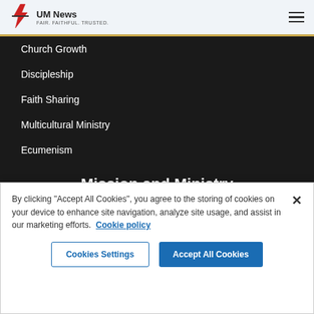UM News FAIR. FAITHFUL. TRUSTED.
Church Growth
Discipleship
Faith Sharing
Multicultural Ministry
Ecumenism
Mission and Ministry
By clicking "Accept All Cookies", you agree to the storing of cookies on your device to enhance site navigation, analyze site usage, and assist in our marketing efforts. Cookie policy
Cookies Settings | Accept All Cookies